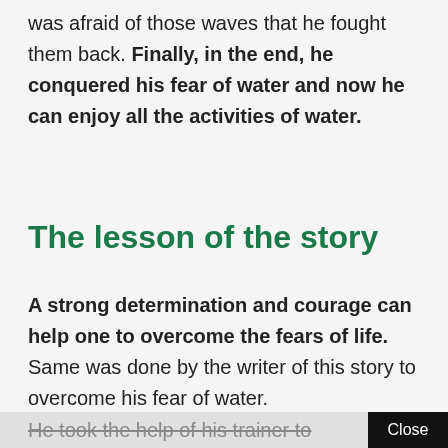was afraid of those waves that he fought them back. Finally, in the end, he conquered his fear of water and now he can enjoy all the activities of water.
The lesson of the story
A strong determination and courage can help one to overcome the fears of life. Same was done by the writer of this story to overcome his fear of water.
He took the help of his trainer to
Close